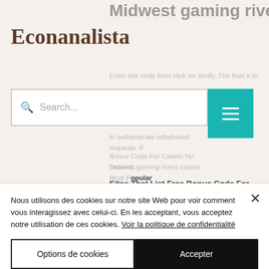Midwest gaming rivers
Econanalista
Enter this code then click on Verify. The final e to create a 4-digit PIN number that will be used to authenticate withdrawal requests. Free Bonus Code For Casino No Deposit, midwest gaming rivers casino. Most Popular Sites That List Free Bonus Code For Casino No Deposit. Below are 46 working coupons for Free Bonus Code For Casino No Deposit from reliable websites that we have updated for users to get maximum savings.
Nous utilisons des cookies sur notre site Web pour voir comment vous interagissez avec celui-ci. En les acceptant, vous acceptez notre utilisation de ces cookies. Voir la politique de confidentialité
Options de cookies
Accepter